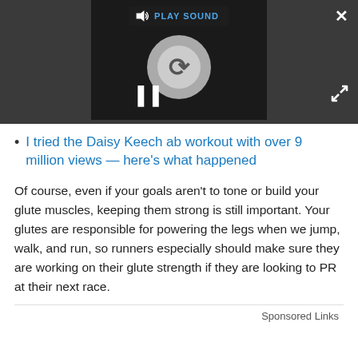[Figure (screenshot): Video player with dark background showing a loading spinner circle, pause button, play sound button in top-left, close (X) button in top-right, and expand button in bottom-right.]
I tried the Daisy Keech ab workout with over 9 million views — here's what happened
Of course, even if your goals aren't to tone or build your glute muscles, keeping them strong is still important. Your glutes are responsible for powering the legs when we jump, walk, and run, so runners especially should make sure they are working on their glute strength if they are looking to PR at their next race.
Sponsored Links